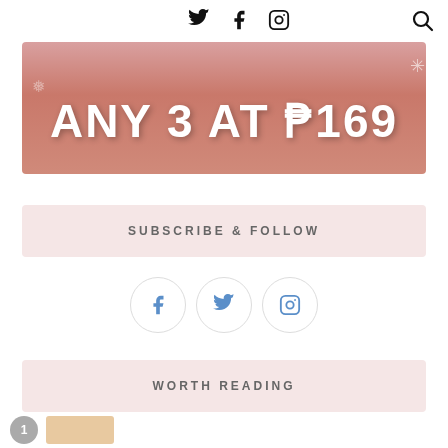Twitter, Facebook, Instagram icons and Search icon
[Figure (photo): Promotional banner with pink/rose background showing beauty products and text 'ANY 3 AT ₱169']
SUBSCRIBE & FOLLOW
[Figure (infographic): Three circular social media icons: Facebook, Twitter, Instagram]
WORTH READING
1 [thumbnail image]